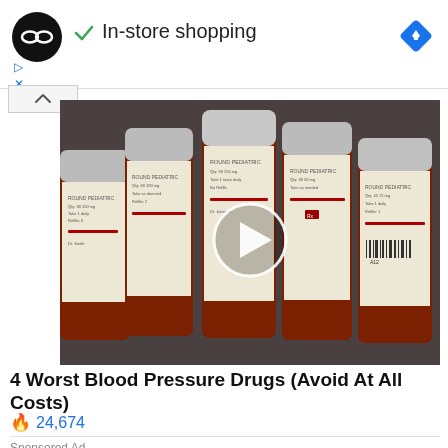[Figure (screenshot): Advertisement banner with black circular logo with infinity symbol, green checkmark with text 'In-store shopping', blue diamond navigation icon, and small play/close controls]
[Figure (photo): Thumbnail image of multiple orange/brown prescription pill bottles with white caps lying on a surface, with a white play button circle overlay in the center]
4 Worst Blood Pressure Drugs (Avoid At All Costs)
🔥 24,674
Sponsored Ad